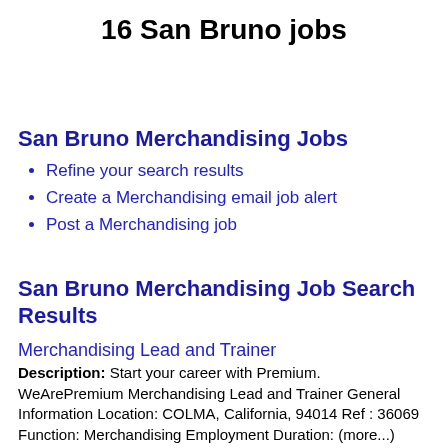16 San Bruno jobs
San Bruno Merchandising Jobs
Refine your search results
Create a Merchandising email job alert
Post a Merchandising job
San Bruno Merchandising Job Search Results
Merchandising Lead and Trainer
Description: Start your career with Premium. WeArePremium Merchandising Lead and Trainer General Information Location: COLMA, California, 94014 Ref : 36069 Function: Merchandising Employment Duration: (more...)